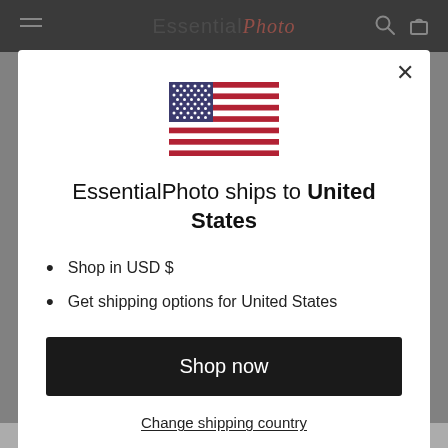EssentialPhoto
[Figure (illustration): United States flag]
EssentialPhoto ships to United States
Shop in USD $
Get shipping options for United States
Shop now
Change shipping country
Compact and Portable: the perfect mounting tool for